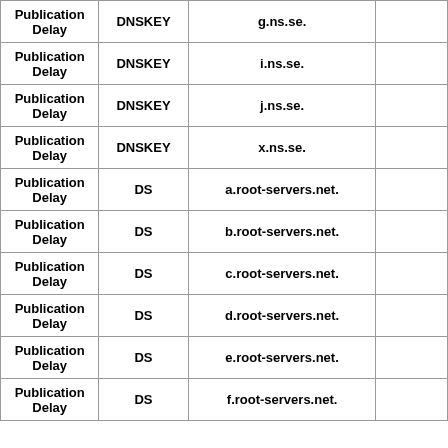| Publication Delay | DNSKEY | g.ns.se. |  |
| Publication Delay | DNSKEY | i.ns.se. |  |
| Publication Delay | DNSKEY | j.ns.se. |  |
| Publication Delay | DNSKEY | x.ns.se. |  |
| Publication Delay | DS | a.root-servers.net. |  |
| Publication Delay | DS | b.root-servers.net. |  |
| Publication Delay | DS | c.root-servers.net. |  |
| Publication Delay | DS | d.root-servers.net. |  |
| Publication Delay | DS | e.root-servers.net. |  |
| Publication Delay | DS | f.root-servers.net. |  |